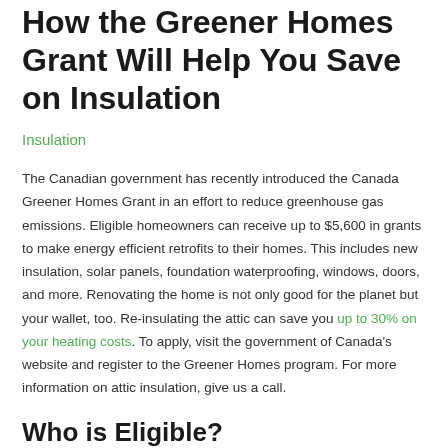How the Greener Homes Grant Will Help You Save on Insulation
Insulation
The Canadian government has recently introduced the Canada Greener Homes Grant in an effort to reduce greenhouse gas emissions. Eligible homeowners can receive up to $5,600 in grants to make energy efficient retrofits to their homes. This includes new insulation, solar panels, foundation waterproofing, windows, doors, and more. Renovating the home is not only good for the planet but your wallet, too. Re-insulating the attic can save you up to 30% on your heating costs. To apply, visit the government of Canada's website and register to the Greener Homes program. For more information on attic insulation, give us a call.
Who is Eligible?